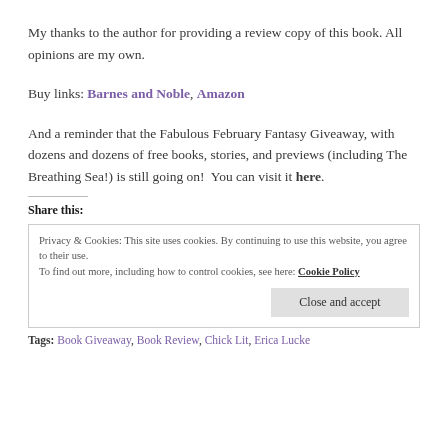My thanks to the author for providing a review copy of this book. All opinions are my own.
Buy links: Barnes and Noble, Amazon
And a reminder that the Fabulous February Fantasy Giveaway, with dozens and dozens of free books, stories, and previews (including The Breathing Sea!) is still going on!  You can visit it here.
Share this:
Privacy & Cookies: This site uses cookies. By continuing to use this website, you agree to their use.
To find out more, including how to control cookies, see here: Cookie Policy
Close and accept
Tags: Book Giveaway, Book Review, Chick Lit, Erica Lucke